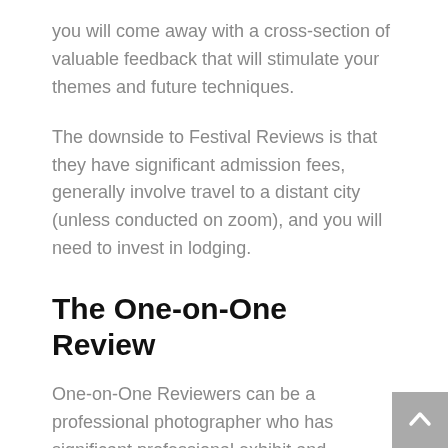you will come away with a cross-section of valuable feedback that will stimulate your themes and future techniques.
The downside to Festival Reviews is that they have significant admission fees, generally involve travel to a distant city (unless conducted on zoom), and you will need to invest in lodging.
The One-on-One Review
One-on-One Reviewers can be a professional photographer who has significant professional exhibit and publishing credits, an art teacher,